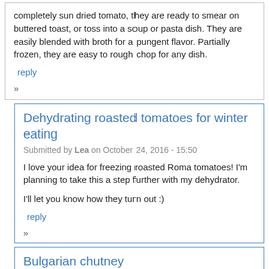completely sun dried tomato, they are ready to smear on buttered toast, or toss into a soup or pasta dish. They are easily blended with broth for a pungent flavor. Partially frozen, they are easy to rough chop for any dish.
reply
»
Dehydrating roasted tomatoes for winter eating
Submitted by Lea on October 24, 2016 - 15:50
I love your idea for freezing roasted Roma tomatoes! I'm planning to take this a step further with my dehydrator.
I'll let you know how they turn out :)
reply
»
Bulgarian chutney
Submitted by Vitana on December 7, 2016 - 21:31